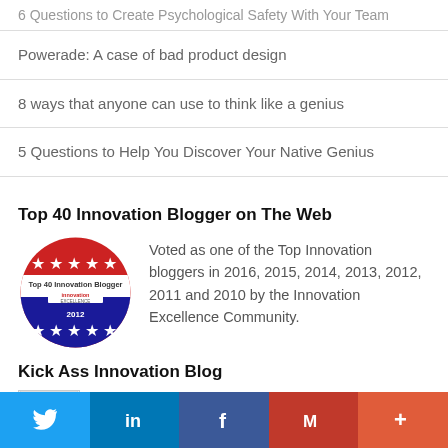6 Questions to Create Psychological Safety With Your Team
Powerade: A case of bad product design
8 ways that anyone can use to think like a genius
5 Questions to Help You Discover Your Native Genius
Top 40 Innovation Blogger on The Web
[Figure (logo): Top 40 Innovation Blogger badge - circular badge with red top, white middle band, and blue bottom, with stars and text reading Top 40 Innovation Blogger, Innovation Excellence, 2012]
Voted as one of the Top Innovation bloggers in 2016, 2015, 2014, 2013, 2012, 2011 and 2010 by the Innovation Excellence Community.
Kick Ass Innovation Blog
Guy Kawasaki's Alltop recognizes Game...
Twitter | LinkedIn | Facebook | Gmail | More